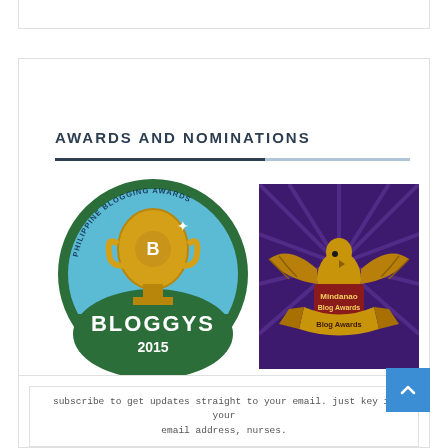AWARDS AND NOMINATIONS
[Figure (illustration): Philippine Blogging Awards - Bloggys 2015 circular badge with trophy and 'Vote for me' text below]
[Figure (illustration): Mindanao Blog Awards badge with golden eagle and banner]
subscribe to get updates straight to your email. just key in your email address, nurses.